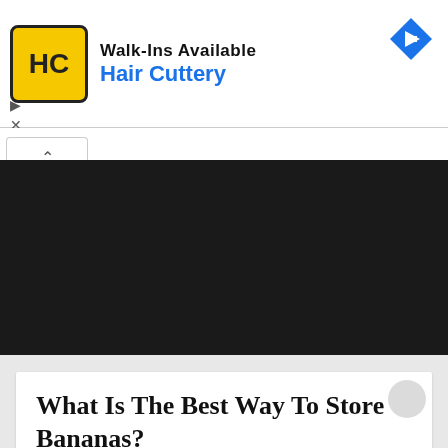[Figure (other): Hair Cuttery advertisement banner with logo, 'Walk-Ins Available' text, brand name, and blue diamond arrow icon]
[Figure (screenshot): Dark black navigation/header area of a website with a white tab on the left side]
What Is The Best Way To Store Bananas?
sonalsart   No Comments
What is the best way to store bananas? The best way to keep your bananas fresh for as long as possible, then, is to buy them when they're still a little green, and let them sit at room temperature until they're ready to eat. Don't put them in a bag or a closed space; that'll only hasten the ripening process.